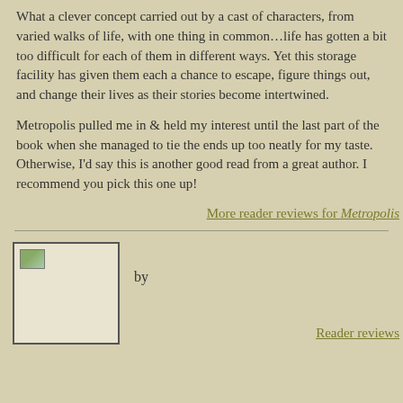What a clever concept carried out by a cast of characters, from varied walks of life, with one thing in common…life has gotten a bit too difficult for each of them in different ways. Yet this storage facility has given them each a chance to escape, figure things out, and change their lives as their stories become intertwined.
Metropolis pulled me in & held my interest until the last part of the book when she managed to tie the ends up too neatly for my taste. Otherwise, I'd say this is another good read from a great author. I recommend you pick this one up!
More reader reviews for Metropolis
[Figure (other): Book cover image placeholder with small green/landscape icon in top-left corner]
by
Reader reviews